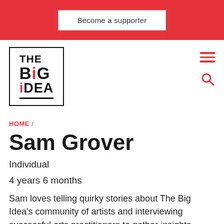Become a supporter
[Figure (logo): The Big Idea logo — black bordered box with bold text THE BIG IDEA, red dots on letters]
HOME /
Sam Grover
Individual
4 years 6 months
Sam loves telling quirky stories about The Big Idea's community of artists and interviewing successful arts practitioners to gather insights about funding and